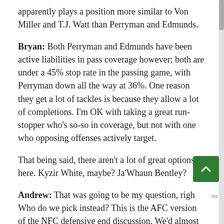apparently plays a position more similar to Von Miller and T.J. Watt than Perryman and Edmunds.
Bryan: Both Perryman and Edmunds have been active liabilities in pass coverage however; both are under a 45% stop rate in the passing game, with Perryman down all the way at 36%. One reason they get a lot of tackles is because they allow a lot of completions. I'm OK with taking a great run-stopper who's so-so in coverage, but not with one who opposing offenses actively target.
That being said, there aren't a lot of great options here. Kyzir White, maybe? Ja'Whaun Bentley?
Andrew: That was going to be my question, right. Who do we pick instead? This is the AFC version of the NFC defensive end discussion. We'd almost be best just picking Bobby Okereke and making it a Colts tandem. The Broncos lost their top guys to